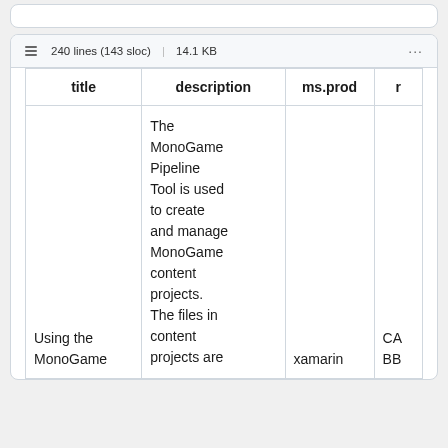240 lines (143 sloc)  |  14.1 KB
| title | description | ms.prod | r |
| --- | --- | --- | --- |
| Using the MonoGame | The MonoGame Pipeline Tool is used to create and manage MonoGame content projects. The files in content projects are | xamarin | CA BB |